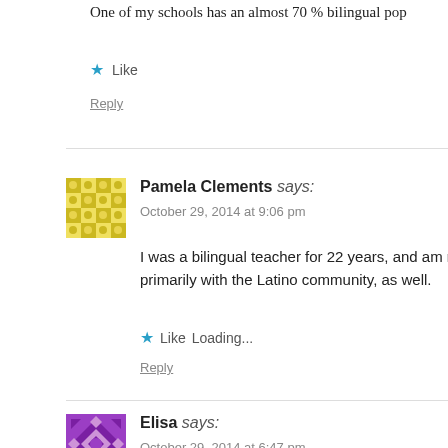One of my schools has an almost 70 % bilingual pop
Like
Reply
Pamela Clements says:
October 29, 2014 at 9:06 pm
I was a bilingual teacher for 22 years, and am now a primarily with the Latino community, as well.
Like Loading...
Reply
Elisa says:
October 29, 2014 at 6:47 pm